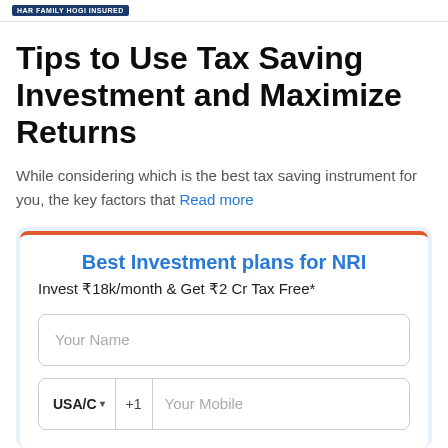HAR FAMILY HOGI INSURED
Tips to Use Tax Saving Investment and Maximize Returns
While considering which is the best tax saving instrument for you, the key factors that Read more
Best Investment plans for NRI
Invest ₹18k/month & Get ₹2 Cr Tax Free*
Your Name
USA/C ▾  +1  Your Mobile